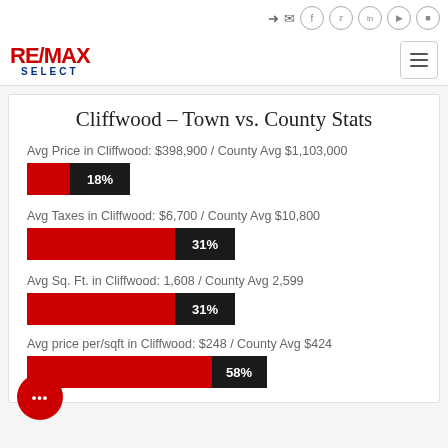[Figure (logo): RE/MAX SELECT logo with red RE/MAX text and blue SELECT text below]
Cliffwood - Town vs. County Stats
Avg Price in Cliffwood: $398,900 / County Avg $1,103,000
[Figure (bar-chart): Avg Price bar]
Avg Taxes in Cliffwood: $6,700 / County Avg $10,800
[Figure (bar-chart): Avg Taxes bar]
Avg Sq. Ft. in Cliffwood: 1,608 / County Avg 2,599
[Figure (bar-chart): Avg Sq Ft bar]
Avg price per/sqft in Cliffwood: $248 / County Avg $424
[Figure (bar-chart): Avg price per sqft bar]